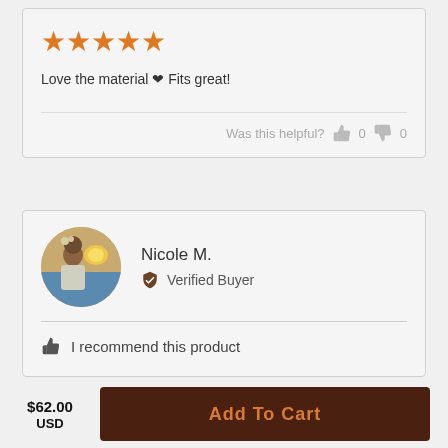[Figure (other): Five orange star rating icons]
Love the material ❤ Fits great!
Was this helpful? 👍 0 👎 0
[Figure (photo): Circular avatar photo of Nicole M., a woman near the ocean at sunset]
Nicole M.
✔ Verified Buyer
👍 I recommend this product
$62.00 USD
Add To Cart